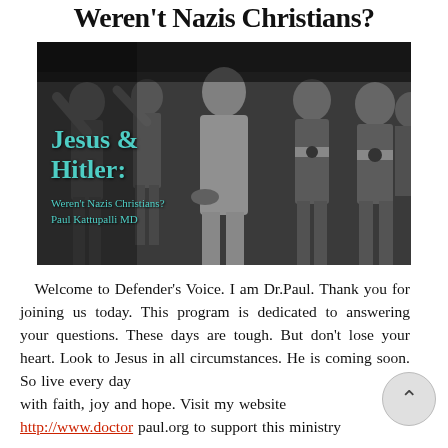Weren't Nazis Christians?
[Figure (photo): Black and white historical photograph showing Hitler and Nazi officers giving salutes, overlaid with teal/cyan text reading 'Jesus & Hitler: Weren't Nazis Christians? Paul Kattupalli MD']
Welcome to Defender's Voice. I am Dr.Paul. Thank you for joining us today. This program is dedicated to answering your questions. These days are tough. But don't lose your heart. Look to Jesus in all circumstances. He is coming soon. So live every day with faith, joy and hope. Visit my website http://www.doctor paul.org to support this ministry